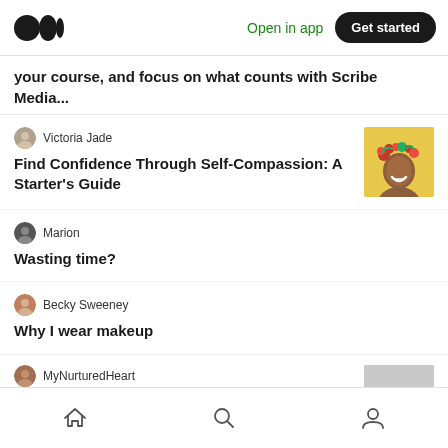Medium app header with logo, Open in app, Get started
your course, and focus on what counts with Scribe Media...
Victoria Jade
Find Confidence Through Self-Compassion: A Starter's Guide
[Figure (photo): Smiling woman wearing floral crown on yellow background]
Marion
Wasting time?
Becky Sweeney
Why I wear makeup
MyNurturedHeart
Bottom navigation bar with home, search, and profile icons